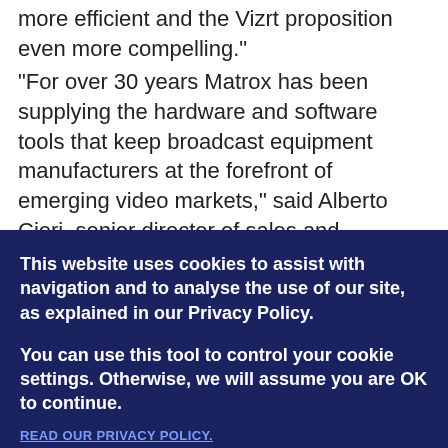more efficient and the Vizrt proposition even more compelling."

"For over 30 years Matrox has been supplying the hardware and software tools that keep broadcast equipment manufacturers at the forefront of emerging video markets," said Alberto Cieri, senior director of sales and marketing, Matrox. "Final Cut Pro is ubiquitous in broadcast facilities worldwide, and we are offering the enabling
This website uses cookies to assist with navigation and to analyse the use of our site, as explained in our Privacy Policy.
You can use this tool to control your cookie settings. Otherwise, we will assume you are OK to continue.
READ OUR PRIVACY POLICY.
DECLINE    ACCEPT